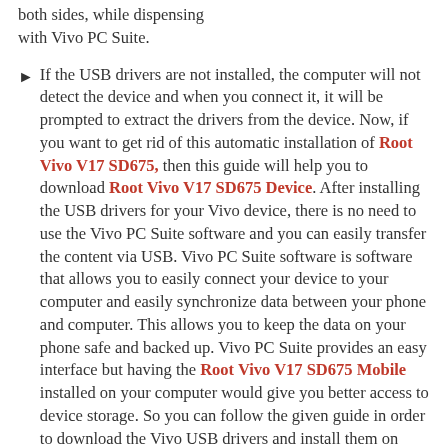both sides, while dispensing with Vivo PC Suite.
If the USB drivers are not installed, the computer will not detect the device and when you connect it, it will be prompted to extract the drivers from the device. Now, if you want to get rid of this automatic installation of Root Vivo V17 SD675, then this guide will help you to download Root Vivo V17 SD675 Device. After installing the USB drivers for your Vivo device, there is no need to use the Vivo PC Suite software and you can easily transfer the content via USB. Vivo PC Suite software is software that allows you to easily connect your device to your computer and easily synchronize data between your phone and computer. This allows you to keep the data on your phone safe and backed up. Vivo PC Suite provides an easy interface but having the Root Vivo V17 SD675 Mobile installed on your computer would give you better access to device storage. So you can follow the given guide in order to download the Vivo USB drivers and install them on your computer to access the phone storage.